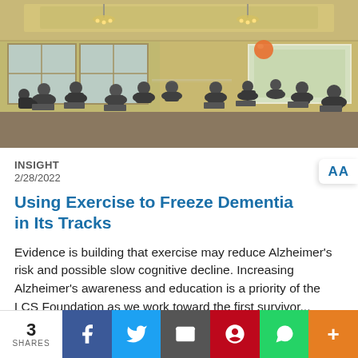[Figure (photo): Indoor gathering room with people seated in a circle of chairs, appearing to participate in an exercise or discussion session. The room has chandeliers, large windows, and a projection screen. An orange ball is visible in the air.]
INSIGHT
2/28/2022
Using Exercise to Freeze Dementia in Its Tracks
Evidence is building that exercise may reduce Alzheimer's risk and possible slow cognitive decline. Increasing Alzheimer's awareness and education is a priority of the LCS Foundation as we work toward the first survivor... READ MORE